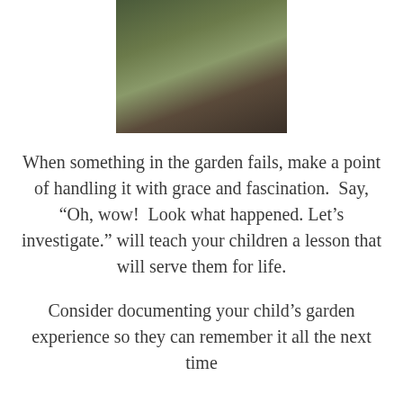[Figure (photo): A child's hand holding green plant stems/weeds, wooden surface in background, child wearing blue shoe visible]
When something in the garden fails, make a point of handling it with grace and fascination.  Say, “Oh, wow!  Look what happened. Let’s investigate.” will teach your children a lesson that will serve them for life.
Consider documenting your child’s garden experience so they can remember it all the next time